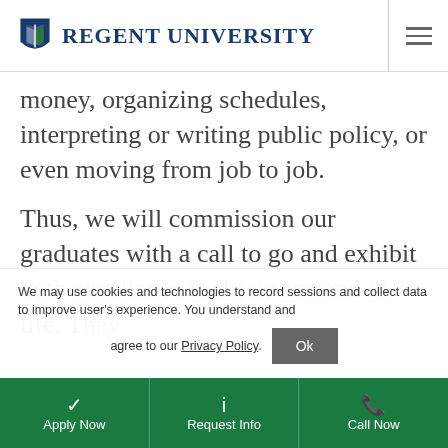Regent University
money, organizing schedules, interpreting or writing public policy, or even moving from job to job.
Thus, we will commission our graduates with a call to go and exhibit both excellence in discipline and in life. They
We may use cookies and technologies to record sessions and collect data to improve user's experience. You understand and agree to our Privacy Policy.
Apply Now | Request Info | Call Now